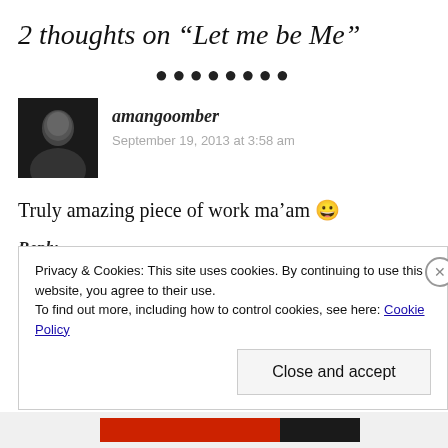2 thoughts on “Let me be Me”
••••••••
amangoomber
September 19, 2013 at 3:58 am
Truly amazing piece of work ma’am 😀
Reply
Privacy & Cookies: This site uses cookies. By continuing to use this website, you agree to their use.
To find out more, including how to control cookies, see here: Cookie Policy
Close and accept